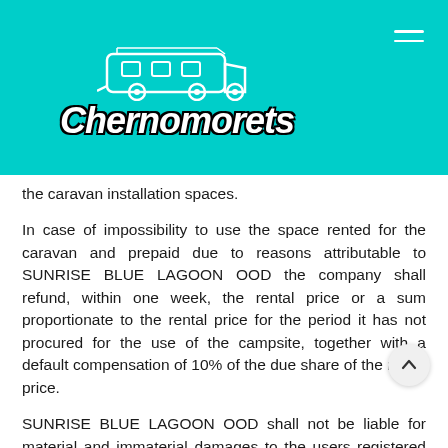[Figure (logo): Chernomorets logo with caravan/trailer illustration above the brand name in white italic script on teal background]
the caravan installation spaces.
In case of impossibility to use the space rented for the caravan and prepaid due to reasons attributable to SUNRISE BLUE LAGOON OOD the company shall refund, within one week, the rental price or a sum proportionate to the rental price for the period it has not procured for the use of the campsite, together with a default compensation of 10% of the due share of the rental price.
SUNRISE BLUE LAGOON OOD shall not be liable for material and immaterial damages to the users registered as guests of the campsite resulting from breakdowns in connection with electricity and water